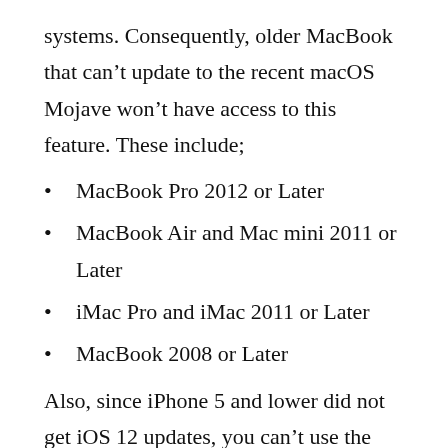systems. Consequently, older MacBook that can't update to the recent macOS Mojave won't have access to this feature. These include;
MacBook Pro 2012 or Later
MacBook Air and Mac mini 2011 or Later
iMac Pro and iMac 2011 or Later
MacBook 2008 or Later
Also, since iPhone 5 and lower did not get iOS 12 updates, you can't use the feature on those Apple devices. The solution here is simple; upgrade your Apple devices or the Operating